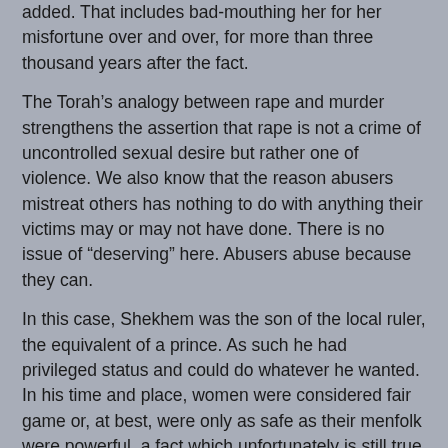added. That includes bad-mouthing her for her misfortune over and over, for more than three thousand years after the fact.
The Torah's analogy between rape and murder strengthens the assertion that rape is not a crime of uncontrolled sexual desire but rather one of violence. We also know that the reason abusers mistreat others has nothing to do with anything their victims may or may not have done. There is no issue of “deserving” here. Abusers abuse because they can.
In this case, Shekhem was the son of the local ruler, the equivalent of a prince. As such he had privileged status and could do whatever he wanted. In his time and place, women were considered fair game or, at best, were only as safe as their menfolk were powerful, a fact which unfortunately is still true in this very region. Shekhem saw Dina, wanted her and simply took what he wanted, knowing that his high status would protect him from punishment. The fact that his victim’s father was himself a man of rank may have added to the thrill: not only was he taking what he wanted, but he was taking a neighboring chieftain’s daughter to boot! An act that would mean death for any other man was just a youthful